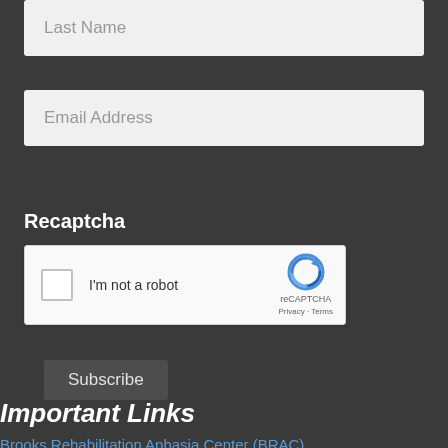[Figure (screenshot): Last Name input field with placeholder text]
[Figure (screenshot): Email Address input field with placeholder text]
Recaptcha
[Figure (screenshot): reCAPTCHA widget with checkbox 'I'm not a robot', reCAPTCHA logo, Privacy and Terms links]
Subscribe
Important Links
Brooks Rehabilitation Aphasia Center (BRAC)
American Stroke Association